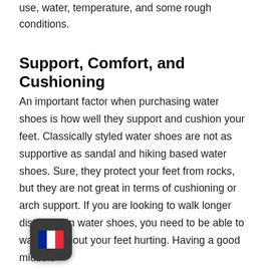use, water, temperature, and some rough conditions.
Support, Comfort, and Cushioning
An important factor when purchasing water shoes is how well they support and cushion your feet. Classically styled water shoes are not as supportive as sandal and hiking based water shoes. Sure, they protect your feet from rocks, but they are not great in terms of cushioning or arch support. If you are looking to walk longer distances in water shoes, you need to be able to walk in without your feet hurting. Having a good midsole
[Figure (illustration): French flag emoji displayed inside a dark rounded square app icon]